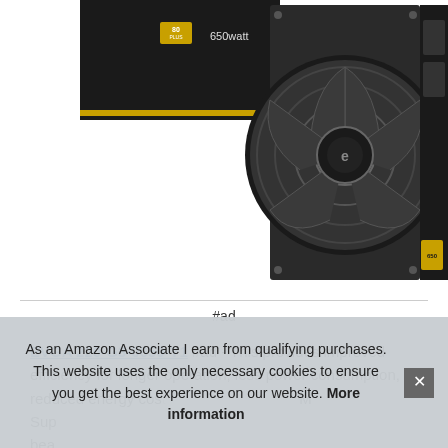[Figure (photo): EVGA 650 watt power supply unit showing the fan grille and side panel with 80 Plus Gold certification label]
#ad
EVGA 220-G3-0650-Y1 #ad - This provides improved efficiency for longer operation, less power consumption, reduced energy cost... Sup... bea... perf... Arm...
As an Amazon Associate I earn from qualifying purchases. This website uses the only necessary cookies to ensure you get the best experience on our website. More information